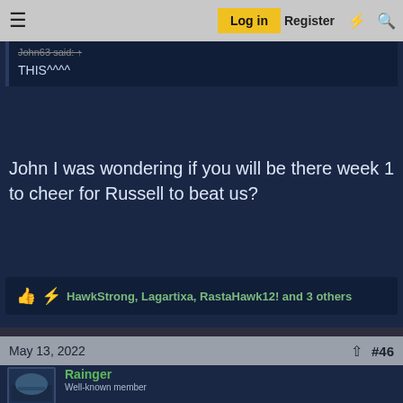Log in  Register
John63 said. ↑
THIS^^^^
John I was wondering if you will be there week 1 to cheer for Russell to beat us?
HawkStrong, Lagartixa, RastaHawk12! and 3 others
May 13, 2022  #46
Rainger
Well-known member
How could you ever Boo this face???